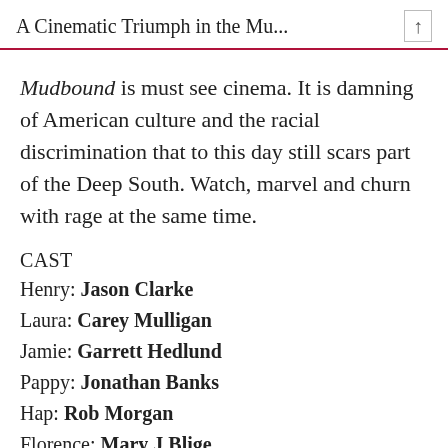A Cinematic Triumph in the Mu...
Mudbound is must see cinema. It is damning of American culture and the racial discrimination that to this day still scars part of the Deep South. Watch, marvel and churn with rage at the same time.
CAST
Henry: Jason Clarke
Laura: Carey Mulligan
Jamie: Garrett Hedlund
Pappy: Jonathan Banks
Hap: Rob Morgan
Florence: Mary J Blige